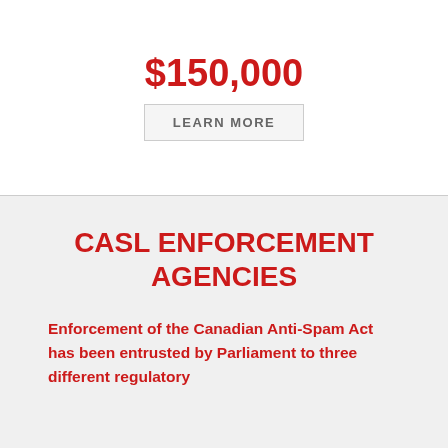$150,000
LEARN MORE
CASL ENFORCEMENT AGENCIES
Enforcement of the Canadian Anti-Spam Act has been entrusted by Parliament to three different regulatory